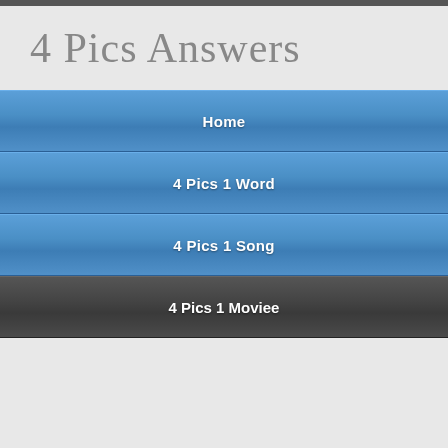4 Pics Answers
Home
4 Pics 1 Word
4 Pics 1 Song
4 Pics 1 Moviee